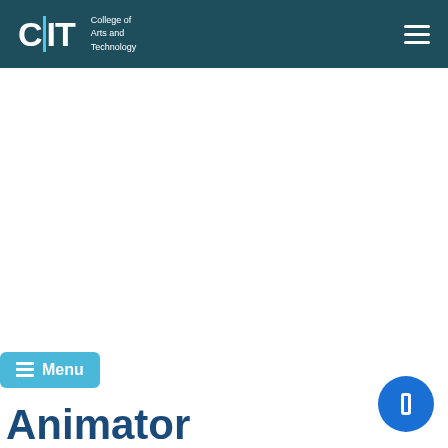CIIT College of Arts and Technology
[Figure (screenshot): Large white blank content area, likely a hero image placeholder]
Menu
Animator